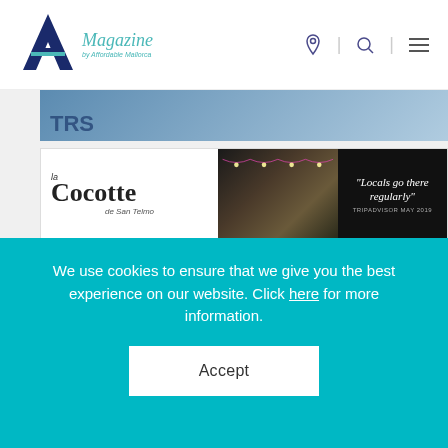A Magazine by Affordable Mallorca
[Figure (photo): Partially visible banner image with blue sky tones and partial text 'TRS']
[Figure (photo): La Cocotte de San Telmo advertisement banner showing restaurant with string lights and quote 'Locals go there regularly' - TRIPADVISOR MAY 2019]
Affordable Mallorca
Contact
We use cookies to ensure that we give you the best experience on our website. Click here for more information.
Accept